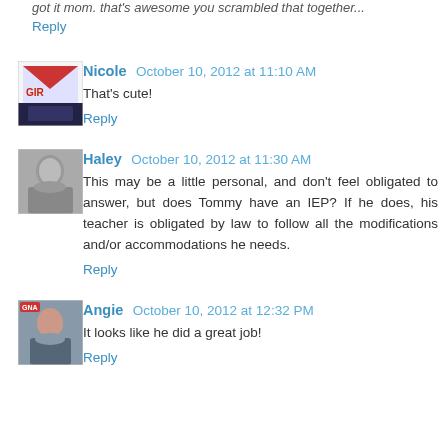got it mom. that's awesome you scrambled that together.
Reply
Nicole  October 10, 2012 at 11:10 AM
That's cute!
Reply
Haley  October 10, 2012 at 11:30 AM
This may be a little personal, and don't feel obligated to answer, but does Tommy have an IEP? If he does, his teacher is obligated by law to follow all the modifications and/or accommodations he needs.
Reply
Angie  October 10, 2012 at 12:32 PM
It looks like he did a great job!
Reply